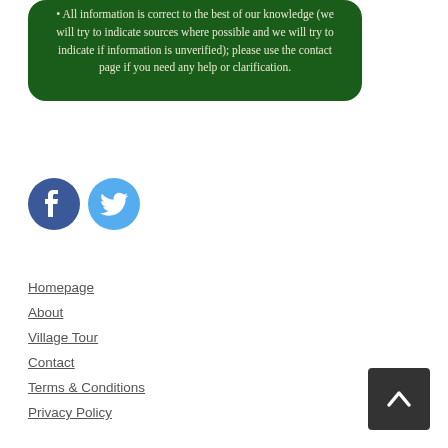[Figure (screenshot): Green rounded rectangle box with white text containing bullet point about information accuracy and contact page]
[Figure (illustration): Facebook and Twitter social media icons side by side]
Homepage
About
Village Tour
Contact
Terms & Conditions
Privacy Policy